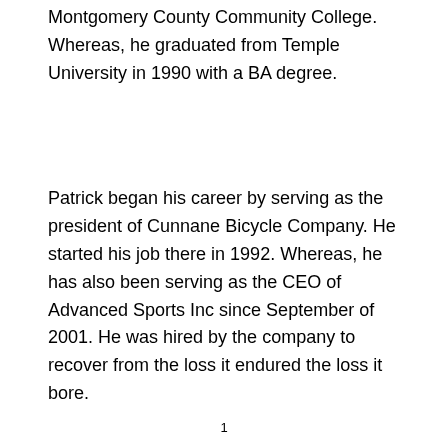Montgomery County Community College. Whereas, he graduated from Temple University in 1990 with a BA degree.
Patrick began his career by serving as the president of Cunnane Bicycle Company. He started his job there in 1992. Whereas, he has also been serving as the CEO of Advanced Sports Inc since September of 2001. He was hired by the company to recover from the loss it endured the loss it bore.
1